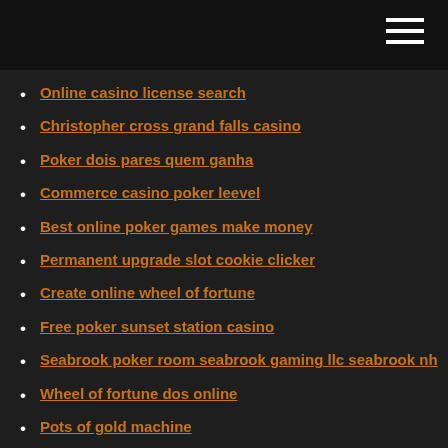Online casino license search
Christopher cross grand falls casino
Poker dois pares quem ganha
Commerce casino poker leevel
Best online poker games make money
Permanent upgrade slot cookie clicker
Create online wheel of fortune
Free poker sunset station casino
Seabrook poker room seabrook gaming llc seabrook nh
Wheel of fortune dos online
Pots of gold machine
Poker stud hi lo regras
Casino island off hong kong